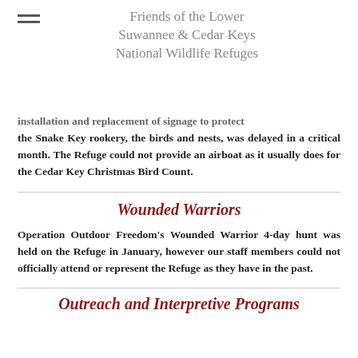Friends of the Lower Suwannee & Cedar Keys National Wildlife Refuges
installation and replacement of signage to protect the Snake Key rookery, the birds and nests, was delayed in a critical month. The Refuge could not provide an airboat as it usually does for the Cedar Key Christmas Bird Count.
Wounded Warriors
Operation Outdoor Freedom's Wounded Warrior 4-day hunt was held on the Refuge in January, however our staff members could not officially attend or represent the Refuge as they have in the past.
Outreach and Interpretive Programs